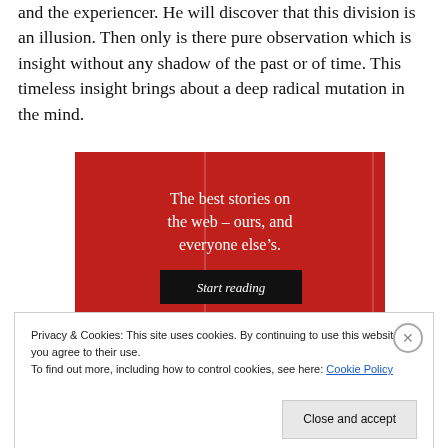and the experiencer. He will discover that this division is an illusion. Then only is there pure observation which is insight without any shadow of the past or of time. This timeless insight brings about a deep radical mutation in the mind.
[Figure (other): Red advertisement banner reading 'The best stories on the web – ours, and everyone else's.' with a 'Start reading' button]
Privacy & Cookies: This site uses cookies. By continuing to use this website, you agree to their use.
To find out more, including how to control cookies, see here: Cookie Policy